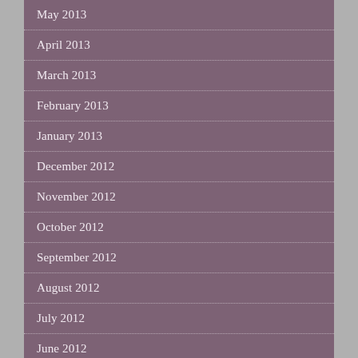May 2013
April 2013
March 2013
February 2013
January 2013
December 2012
November 2012
October 2012
September 2012
August 2012
July 2012
June 2012
May 2012